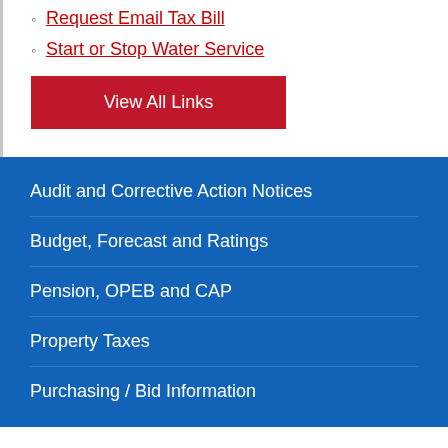Request Email Tax Bill
Start or Stop Water Service
View All Links
Audit and Corrective Action Notices
Budget, Forecast and Ratings
Pension, OPEB and CAP
Property Taxes
Purchasing / Bid Information